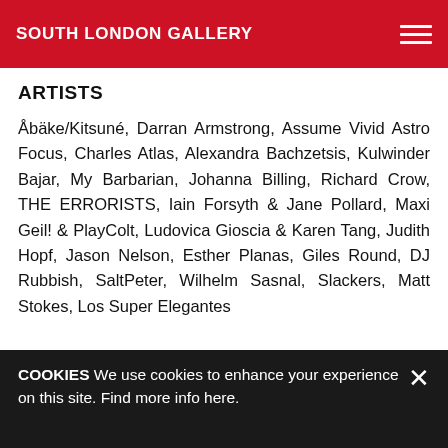SOUTH LONDON GALLERY
ARTISTS
Åbäke/Kitsuné, Darran Armstrong, Assume Vivid Astro Focus, Charles Atlas, Alexandra Bachzetsis, Kulwinder Bajar, My Barbarian, Johanna Billing, Richard Crow, THE ERRORISTS, Iain Forsyth & Jane Pollard, Maxi Geil! & PlayColt, Ludovica Gioscia & Karen Tang, Judith Hopf, Jason Nelson, Esther Planas, Giles Round, DJ Rubbish, SaltPeter, Wilhelm Sasnal, Slackers, Matt Stokes, Los Super Elegantes
EXHIBITION VIEW
COOKIES We use cookies to enhance your experience on this site. Find more info here.